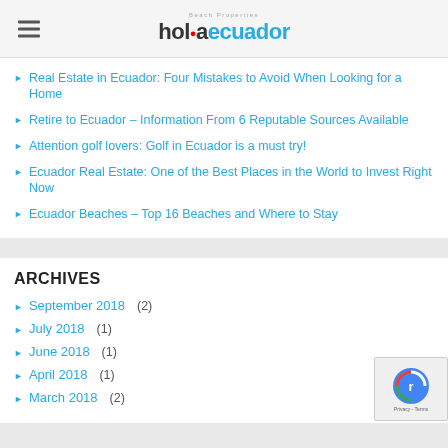hola ecuador Beach Properties
Real Estate in Ecuador: Four Mistakes to Avoid When Looking for a Home
Retire to Ecuador – Information From 6 Reputable Sources Available
Attention golf lovers: Golf in Ecuador is a must try!
Ecuador Real Estate: One of the Best Places in the World to Invest Right Now
Ecuador Beaches – Top 16 Beaches and Where to Stay
ARCHIVES
September 2018  (2)
July 2018  (1)
June 2018  (1)
April 2018  (1)
March 2018  (2)